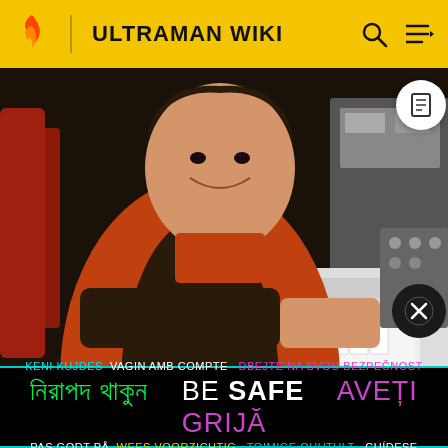ULTRAMAN WIKI
[Figure (photo): A woman in an orange and dark uniform sitting at a control panel/keyboard console, smiling at the camera. The setting appears to be a science fiction TV show control room.]
KENI KUJDES VAGIN AMB COMPTE DBEJTE NA SVOU BEZPEČNOST নিরাপদ থাকুন BE SAFE AVEȚI GRIJĂ PAS GODT PÅ WEES VOORZICHTIG TOIMIGE OHUTULT CUÍDESE